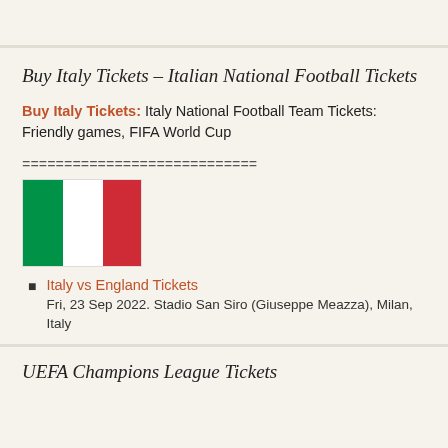Buy Italy Tickets – Italian National Football Tickets
Buy Italy Tickets: Italy National Football Team Tickets: Friendly games, FIFA World Cup
============================
[Figure (illustration): Italian flag with three vertical stripes: green, white, and red]
Italy vs England Tickets
Fri, 23 Sep 2022. Stadio San Siro (Giuseppe Meazza), Milan, Italy
UEFA Champions League Tickets